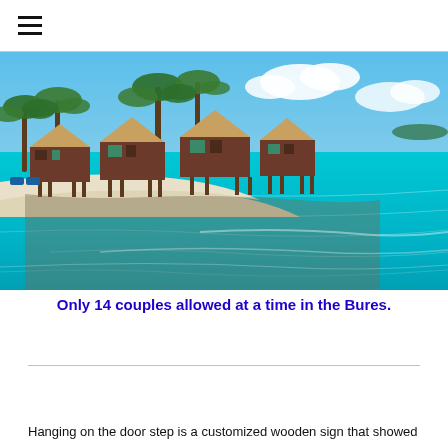☰
[Figure (photo): Tropical beach resort with overwater bures/bungalows on stilts over crystal-clear turquoise water, white sand beach, and lush palm trees under a blue sky with clouds.]
Only 14 couples allowed at a time in the Bures.
Hanging on the door step is a customized wooden sign that showed